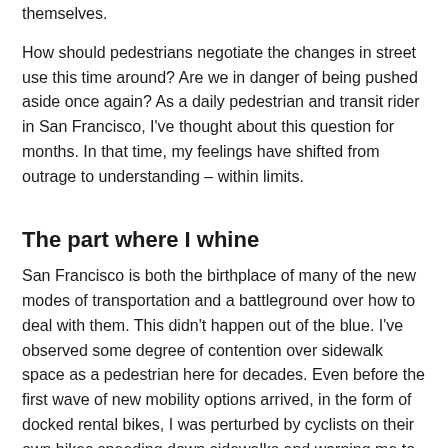themselves.
How should pedestrians negotiate the changes in street use this time around? Are we in danger of being pushed aside once again? As a daily pedestrian and transit rider in San Francisco, I've thought about this question for months. In that time, my feelings have shifted from outrage to understanding – within limits.
The part where I whine
San Francisco is both the birthplace of many of the new modes of transportation and a battleground over how to deal with them. This didn't happen out of the blue. I've observed some degree of contention over sidewalk space as a pedestrian here for decades. Even before the first wave of new mobility options arrived, in the form of docked rental bikes, I was perturbed by cyclists on their own bikes speeding down sidewalks and warning me to get out of the way. It was especially galling